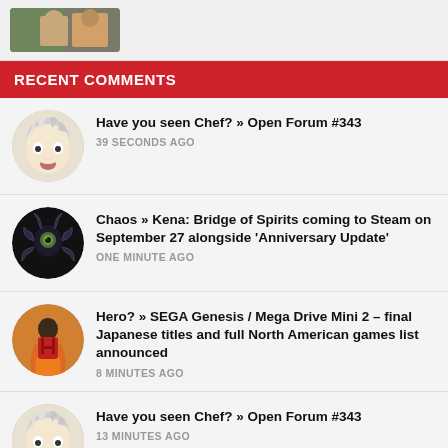[Figure (photo): Partially visible thumbnail image of two people outdoors]
RECENT COMMENTS
Have you seen Chef? » Open Forum #343 — 39 SECONDS AGO
Chaos » Kena: Bridge of Spirits coming to Steam on September 27 alongside 'Anniversary Update' — ONE MINUTE AGO
Hero? » SEGA Genesis / Mega Drive Mini 2 – final Japanese titles and full North American games list announced — 8 MINUTES AGO
Have you seen Chef? » Open Forum #343 — 13 MINUTES AGO